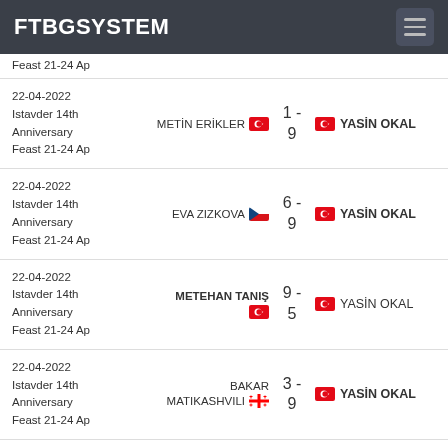FTBGSYSTEM
Feast 21-24 Ap
22-04-2022
Istavder 14th Anniversary
Feast 21-24 Ap
METIN ERIKLER 🇹🇷  1 - 9  🇹🇷 YASIN OKAL
22-04-2022
Istavder 14th Anniversary
Feast 21-24 Ap
EVA ZIZKOVA 🇨🇿  6 - 9  🇹🇷 YASIN OKAL
22-04-2022
Istavder 14th Anniversary
Feast 21-24 Ap
METEHAN TANIŞ 🇹🇷  9 - 5  🇹🇷 YASIN OKAL
22-04-2022
Istavder 14th Anniversary
Feast 21-24 Ap
BAKAR MATIKASHVILI 🇬🇪  3 - 9  🇹🇷 YASIN OKAL